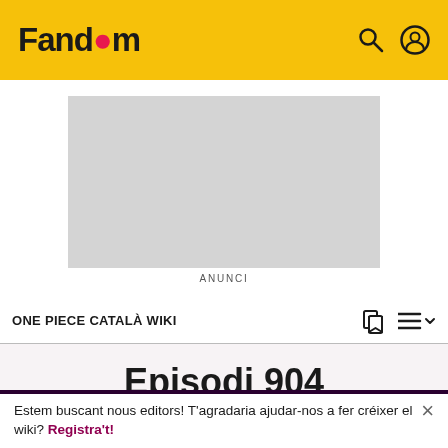Fandom
[Figure (other): Advertisement placeholder (gray rectangle)]
ANUNCI
ONE PIECE CATALÀ WIKI
Episodi 904
✏ MODIFICA
Estem buscant nous editors! T'agradaria ajudar-nos a fer créixer el wiki? Registra't!